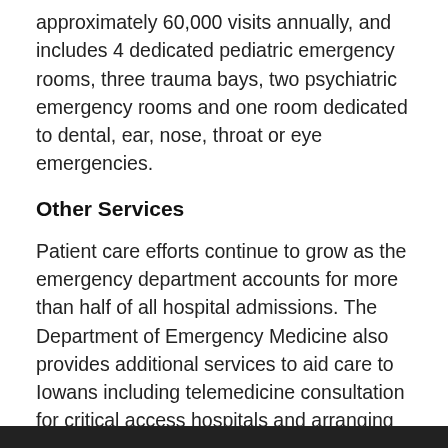approximately 60,000 visits annually, and includes 4 dedicated pediatric emergency rooms, three trauma bays, two psychiatric emergency rooms and one room dedicated to dental, ear, nose, throat or eye emergencies.
Other Services
Patient care efforts continue to grow as the emergency department accounts for more than half of all hospital admissions. The Department of Emergency Medicine also provides additional services to aid care to Iowans including telemedicine consultation for critical access hospitals and arranging efficient transfers from outside hospitals for admission to the University of Iowa Hospitals and Clinics.